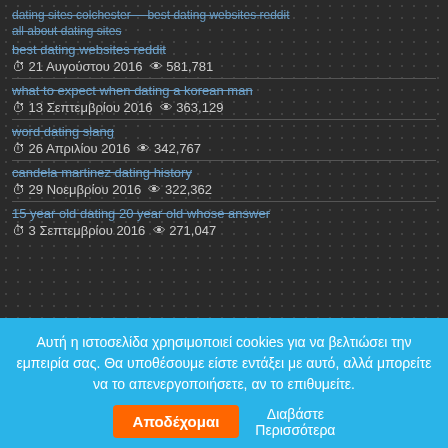dating sites colchester   best dating websites reddit
all about dating sites
best dating websites reddit
⊙ 21 Αυγούστου 2016  👁 581,781
what to expect when dating a korean man
⊙ 13 Σεπτεμβρίου 2016  👁 363,129
word dating slang
⊙ 26 Απριλίου 2016  👁 342,767
candela martinez dating history
⊙ 29 Νοεμβρίου 2016  👁 322,362
15 year old dating 20 year old whose answer
⊙ 3 Σεπτεμβρίου 2016  👁 271,047
Αυτή η ιστοσελίδα χρησιμοποιεί cookies για να βελτιώσει την εμπειρία σας. Θα υποθέσουμε είστε εντάξει με αυτό, αλλά μπορείτε να το απενεργοποιήσετε, αν το επιθυμείτε.
Αποδέχομαι
Διαβάστε Περισσότερα